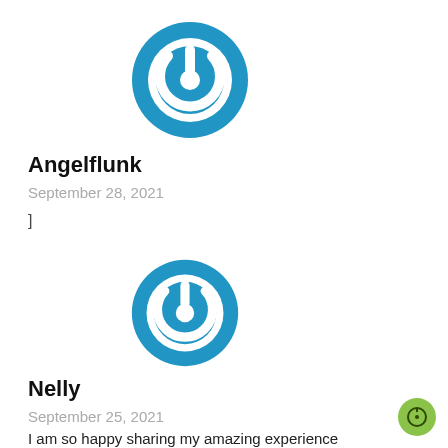[Figure (logo): Blue circular power button icon for user Angelflunk]
Angelflunk
September 28, 2021
]
[Figure (logo): Blue circular power button icon for user Nelly]
Nelly
September 25, 2021
I am so happy sharing my amazing experience